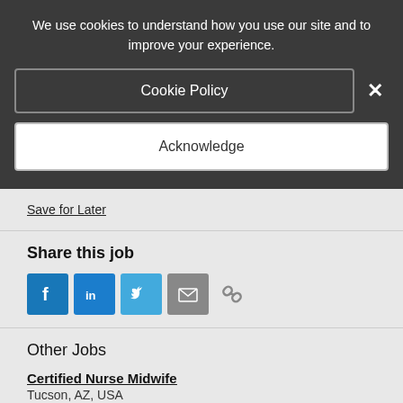We use cookies to understand how you use our site and to improve your experience.
Cookie Policy
Acknowledge
Save for Later
Share this job
[Figure (other): Social media share icons: Facebook, LinkedIn, Twitter, Email, and a chain link icon]
Other Jobs
Certified Nurse Midwife
Tucson, AZ, USA
Medical Assistant
Tucson, AZ, USA